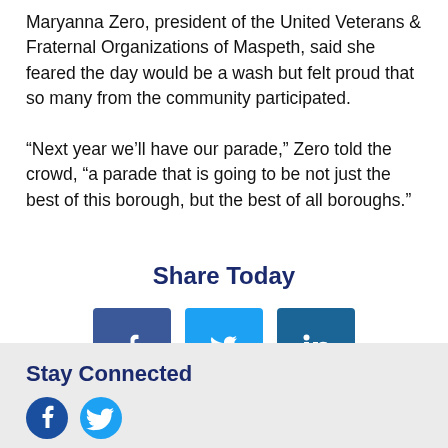Maryanna Zero, president of the United Veterans & Fraternal Organizations of Maspeth, said she feared the day would be a wash but felt proud that so many from the community participated.
“Next year we’ll have our parade,” Zero told the crowd, “a parade that is going to be not just the best of this borough, but the best of all boroughs.”
Share Today
[Figure (infographic): Three social media share buttons: Facebook (dark blue), Twitter (light blue), LinkedIn (medium blue)]
PREVIOUS
NEXT
Stay Connected
[Figure (infographic): Social media icons: Facebook and Twitter]